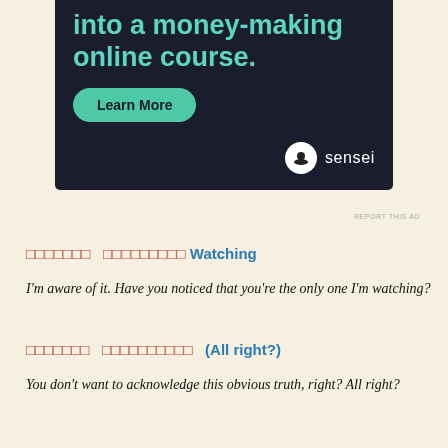[Figure (screenshot): Advertisement banner with dark background showing text 'into a money-making online course.' in teal, a green 'Learn More' button, and the Sensei logo/brand at bottom right.]
REPORT THIS AD
xxxxxxx  xxxxxxxx Watching
I'm aware of it. Have you noticed that you're the only one I'm watching?
xxxxxxx  xxxxxxxxxx  (All right?)
You don't want to acknowledge this obvious truth, right? All right?